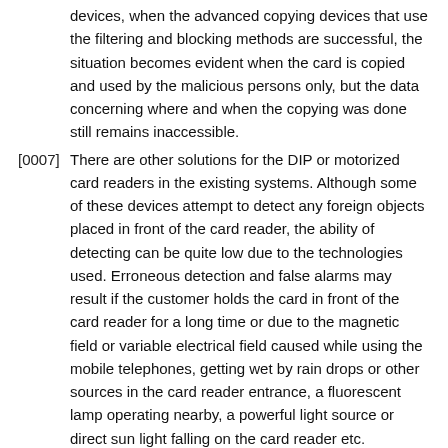devices, when the advanced copying devices that use the filtering and blocking methods are successful, the situation becomes evident when the card is copied and used by the malicious persons only, but the data concerning where and when the copying was done still remains inaccessible.
[0007] There are other solutions for the DIP or motorized card readers in the existing systems. Although some of these devices attempt to detect any foreign objects placed in front of the card reader, the ability of detecting can be quite low due to the technologies used. Erroneous detection and false alarms may result if the customer holds the card in front of the card reader for a long time or due to the magnetic field or variable electrical field caused while using the mobile telephones, getting wet by rain drops or other sources in the card reader entrance, a fluorescent lamp operating nearby, a powerful light source or direct sun light falling on the card reader etc. Moreover, since such products are aimed at detecting only and do not protect the card reader by jamming, they put